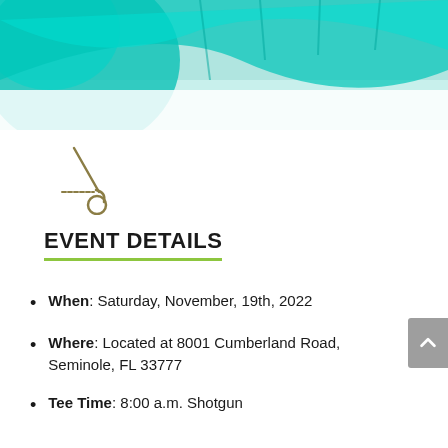[Figure (photo): Header image with teal/green wavy design overlay on a golf course or sports facility photo]
[Figure (illustration): Golf club and ball icon in olive/tan color, simple line drawing style]
EVENT DETAILS
When: Saturday, November, 19th, 2022
Where: Located at 8001 Cumberland Road, Seminole, FL 33777
Tee Time: 8:00 a.m. Shotgun